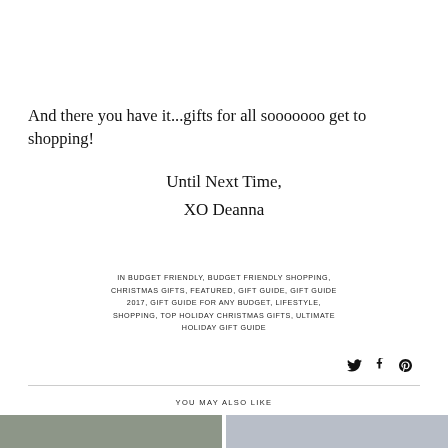And there you have it...gifts for all sooooooo get to shopping!
Until Next Time,
XO Deanna
IN BUDGET FRIENDLY, BUDGET FRIENDLY SHOPPING, CHRISTMAS GIFTS, FEATURED, GIFT GUIDE, GIFT GUIDE 2017, GIFT GUIDE FOR ANY BUDGET, LIFESTYLE, SHOPPING, TOP HOLIDAY CHRISTMAS GIFTS, ULTIMATE HOLIDAY GIFT GUIDE
[Figure (illustration): Social sharing icons: Twitter bird, Facebook f, Pinterest P]
YOU MAY ALSO LIKE
[Figure (photo): Left thumbnail image - dark toned lifestyle photo]
[Figure (photo): Right thumbnail image - light toned lifestyle photo with flowers]